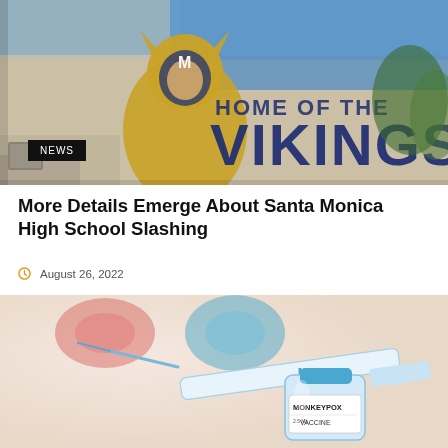[Figure (photo): Exterior wall of Santa Monica High School showing the 'Home of the Vikings' mural with a Viking mascot in blue and gold on a beige wall under a blue sky.]
NEWS
More Details Emerge About Santa Monica High School Slashing
August 26, 2022
[Figure (photo): Close-up photo of a syringe next to a vial labeled 'MONKEYPOX VACCINE' with blurred colorful medical items in the background.]